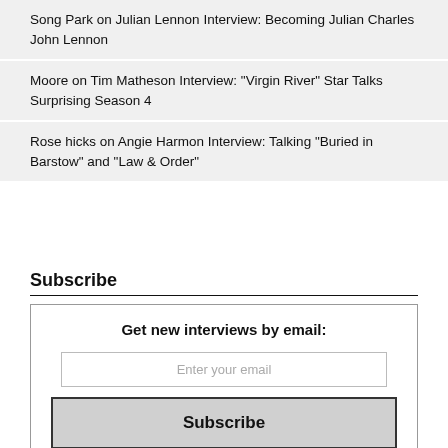Song Park on Julian Lennon Interview: Becoming Julian Charles John Lennon
Moore on Tim Matheson Interview: "Virgin River" Star Talks Surprising Season 4
Rose hicks on Angie Harmon Interview: Talking "Buried in Barstow" and "Law & Order"
Subscribe
Get new interviews by email:
Enter your email
Subscribe